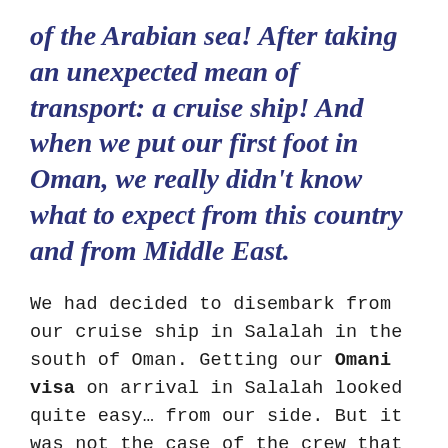of the Arabian sea! After taking an unexpected mean of transport: a cruise ship! And when we put our first foot in Oman, we really didn't know what to expect from this country and from Middle East.
We had decided to disembark from our cruise ship in Salalah in the south of Oman. Getting our Omani visa on arrival in Salalah looked quite easy… from our side. But it was not the case of the crew that told us we needed the help of an agent to get the visa. And obviously the price the agent wanted to charge us was